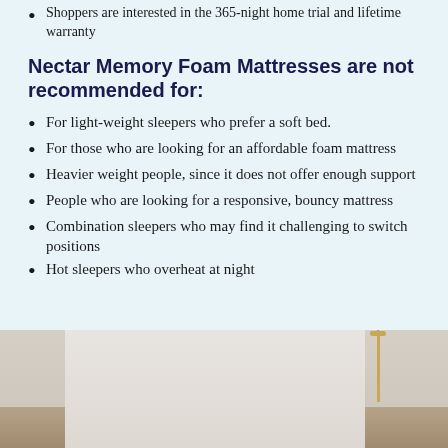Shoppers are interested in the 365-night home trial and lifetime warranty
Nectar Memory Foam Mattresses are not recommended for:
For light-weight sleepers who prefer a soft bed.
For those who are looking for an affordable foam mattress
Heavier weight people, since it does not offer enough support
People who are looking for a responsive, bouncy mattress
Combination sleepers who may find it challenging to switch positions
Hot sleepers who overheat at night
[Figure (photo): Bedroom scene showing a bed headboard and wall with a hanging lamp/pendant light in gold/brass finish against a neutral wall]